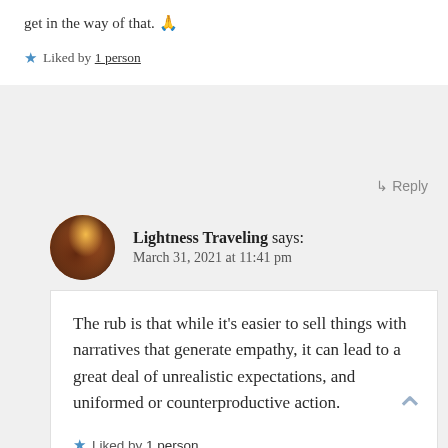get in the way of that. 🙏
★ Liked by 1 person
↳ Reply
Lightness Traveling says: March 31, 2021 at 11:41 pm
The rub is that while it's easier to sell things with narratives that generate empathy, it can lead to a great deal of unrealistic expectations, and uniformed or counterproductive action.
★ Liked by 1 person